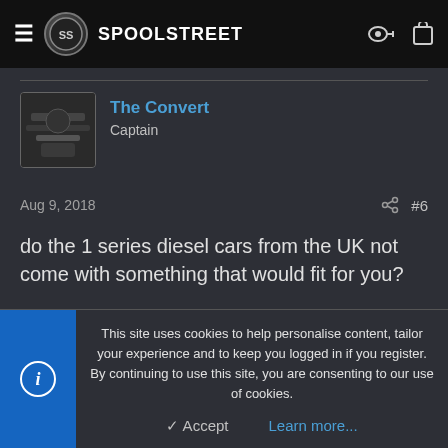SPOOLSTREET
The Convert
Captain
Aug 9, 2018  #6
do the 1 series diesel cars from the UK not come with something that would fit for you?
chadillac2000
Corporal
This site uses cookies to help personalise content, tailor your experience and to keep you logged in if you register.
By continuing to use this site, you are consenting to our use of cookies.
Accept   Learn more...